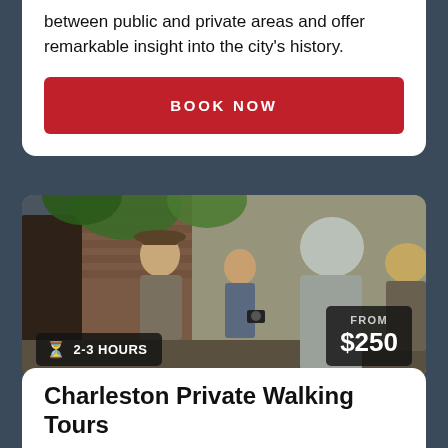between public and private areas and offer remarkable insight into the city's history.
BOOK NOW
[Figure (photo): Tour guide in a hat speaking to a group of tourists in a historic Charleston alleyway with trees and old walls]
2-3 HOURS
FROM $250
Charleston Private Walking Tours
Interested in booking a private tour with one of our